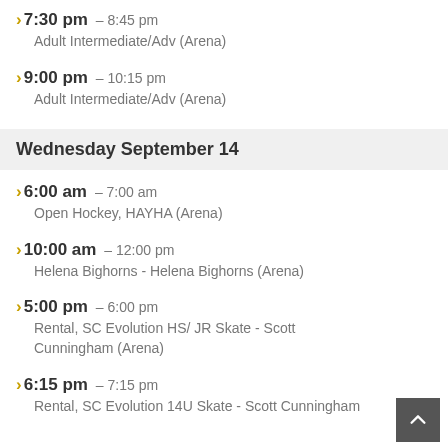7:30 pm – 8:45 pm
Adult Intermediate/Adv (Arena)
9:00 pm – 10:15 pm
Adult Intermediate/Adv (Arena)
Wednesday September 14
6:00 am – 7:00 am
Open Hockey, HAYHA (Arena)
10:00 am – 12:00 pm
Helena Bighorns - Helena Bighorns (Arena)
5:00 pm – 6:00 pm
Rental, SC Evolution HS/ JR Skate - Scott Cunningham (Arena)
6:15 pm – 7:15 pm
Rental, SC Evolution 14U Skate - Scott Cunningham